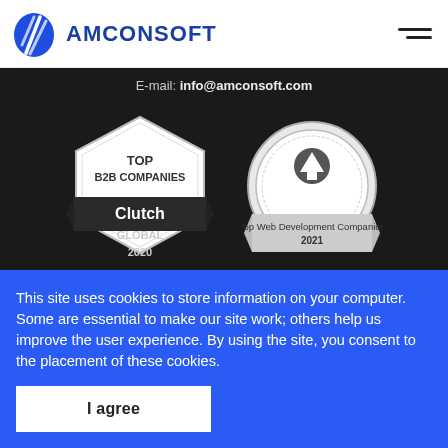[Figure (logo): Amconsoft company logo: blue circle with white diagonal lines and AMCONSOFT text in bold blue]
E-mail: info@amconsoft.com
[Figure (illustration): Clutch award badge: hexagon shape with text TOP B2B COMPANIES, Clutch, GLOBAL, 2020]
[Figure (illustration): Top Web Development Companies 2021 circular badge with upward arrow icon]
[Figure (illustration): Partially visible G2 badge (circle) at bottom left]
[Figure (illustration): Partially visible TOP hexagon badge at bottom right]
This site uses cookies to store information on your computer. Some are essential to make our site work; others help us improve the user experience. By using the site, you consent to the placement of these cookies.
I agree